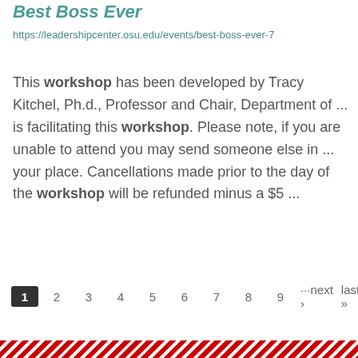Best Boss Ever
https://leadershipcenter.osu.edu/events/best-boss-ever-7
This workshop has been developed by Tracy Kitchel, Ph.d., Professor and Chair, Department of ... is facilitating this workshop. Please note, if you are unable to attend you may send someone else in ... your place. Cancellations made prior to the day of the workshop will be refunded minus a $5 ...
1 2 3 4 5 6 7 8 9 ···next › last »